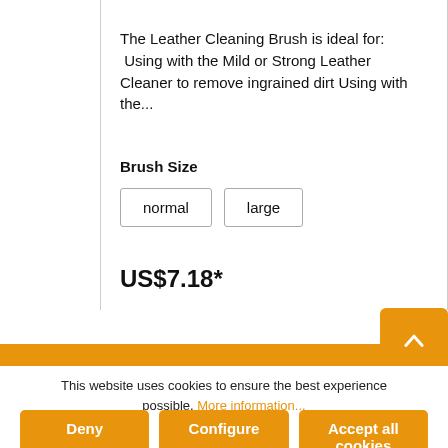The Leather Cleaning Brush is ideal for:  Using with the Mild or Strong Leather Cleaner to remove ingrained dirt Using with the...
Brush Size
normal   large
US$7.18*
Add to cart
This website uses cookies to ensure the best experience possible. More information...
Deny
Configure
Accept all cookies